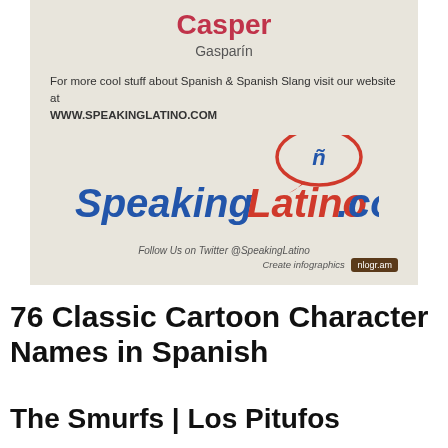[Figure (infographic): SpeakingLatino.com infographic panel showing 'Casper' / 'Gasparín' with website URL, SpeakingLatino.com logo with speech bubble containing ñ, Twitter follow text, and Create infographics badge.]
76 Classic Cartoon Character Names in Spanish
The Smurfs | Los Pitufos